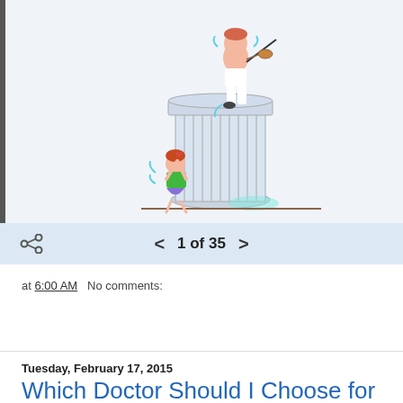[Figure (illustration): Cartoon illustration of a person standing on top of a tall column/pedestal, playing violin and dancing, while another person (with red hair, green top, purple skirt) reaches up toward the column from below.]
1 of 35
at 6:00 AM   No comments:
Share
Tuesday, February 17, 2015
Which Doctor Should I Choose for My